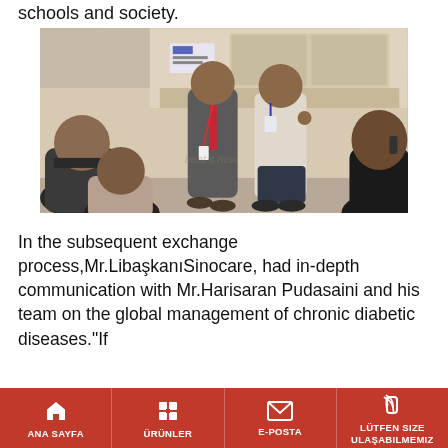schools and society.
[Figure (photo): Several people in a room; two men standing in the center (one in a suit with a lanyard, one in a white shirt with a badge) appear to be presenting or explaining something; other attendees are seated in the foreground with their backs to the camera.]
In the subsequent exchange process,Mr.LibaşkanıSinocare, had in-depth communication with Mr.Harisaran Pudasaini and his team on the global management of chronic diabetic diseases."If
ANA SAYFA   ÜRÜNLER   E-POSTA   LÜTFEN SIZE ULAŞABILMEMIZ